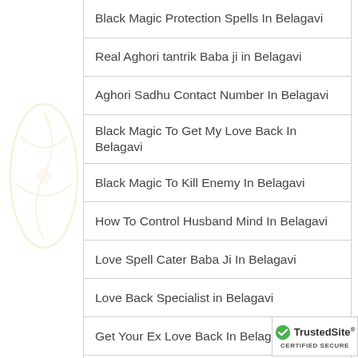Black Magic Protection Spells In Belagavi
Real Aghori tantrik Baba ji in Belagavi
Aghori Sadhu Contact Number In Belagavi
Black Magic To Get My Love Back In Belagavi
Black Magic To Kill Enemy In Belagavi
How To Control Husband Mind In Belagavi
Love Spell Cater Baba Ji In Belagavi
Love Back Specialist in Belagavi
Get Your Ex Love Back In Belagavi
Husband-Wife Problem Solution Specialist in Belagavi